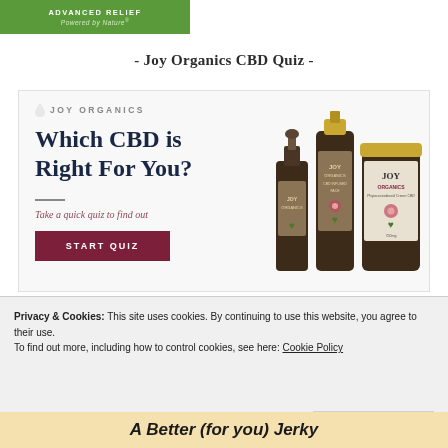[Figure (logo): Green banner with white text: ADVANCED RELIEF / Powered by Nature]
- Joy Organics CBD Quiz -
[Figure (infographic): Joy Organics CBD quiz advertisement showing headline 'Which CBD is Right For You?', subtext 'Take a quick quiz to find out', a START QUIZ button, and product bottle images on the right]
Privacy & Cookies: This site uses cookies. By continuing to use this website, you agree to their use.
To find out more, including how to control cookies, see here: Cookie Policy
Close and accept
A Better (for you) Jerky